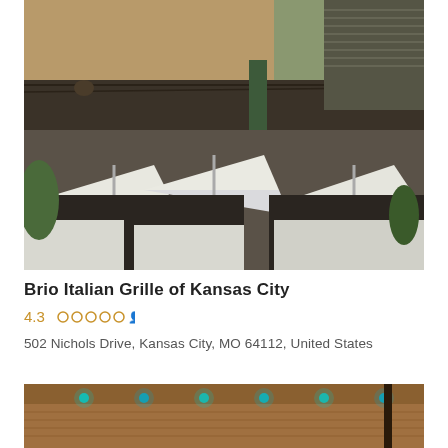[Figure (photo): Exterior photo of Brio Italian Grille of Kansas City showing outdoor patio with white umbrellas, dark awning, brick building facade, and green structural column]
Brio Italian Grille of Kansas City
4.3  .....
502 Nichols Drive, Kansas City, MO 64112, United States
[Figure (photo): Interior photo of a bar or restaurant showing warm-lit wooden bar top with teal/blue decorative lights]